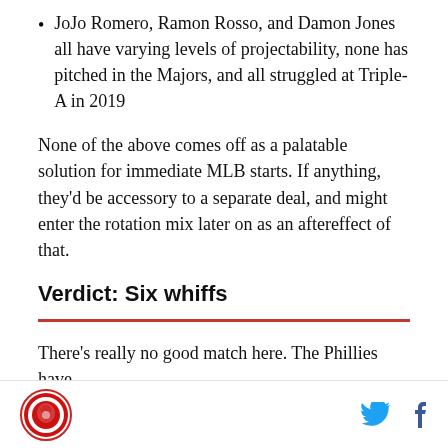JoJo Romero, Ramon Rosso, and Damon Jones all have varying levels of projectability, none has pitched in the Majors, and all struggled at Triple-A in 2019
None of the above comes off as a palatable solution for immediate MLB starts. If anything, they'd be accessory to a separate deal, and might enter the rotation mix later on as an aftereffect of that.
Verdict: Six whiffs
There's really no good match here. The Phillies have